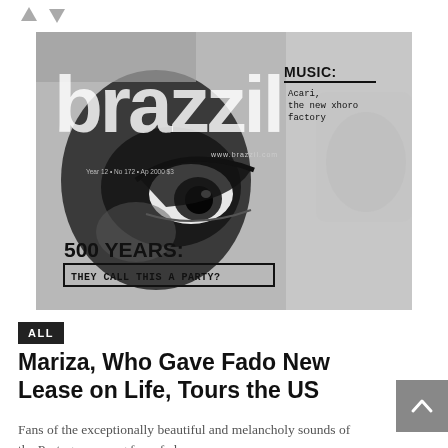[Figure (photo): Black and white magazine cover of 'brazzil' magazine. Shows a close-up face with one eye prominent. Text on cover: 'MUSIC: Acari, the new xhoro factory', 'www.brazzil.com', 'Year 12 - No 172 - Ap 2000 $3', '500 YEARS: THEY CALL THIS A PARTY?']
ALL
Mariza, Who Gave Fado New Lease on Life, Tours the US
Fans of the exceptionally beautiful and melancholy sounds of the Portuguese song form fado ...